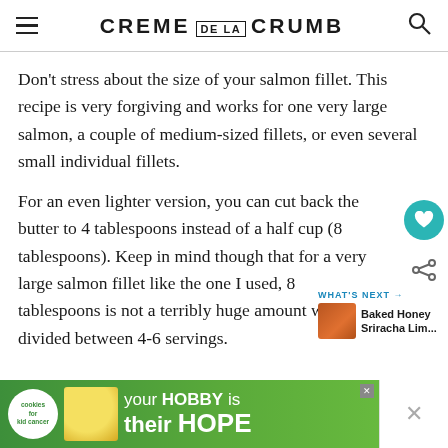CREME DE LA CRUMB
Don't stress about the size of your salmon fillet. This recipe is very forgiving and works for one very large salmon, a couple of medium-sized fillets, or even several small individual fillets.
For an even lighter version, you can cut back the butter to 4 tablespoons instead of a half cup (8 tablespoons). Keep in mind though that for a very large salmon fillet like the one I used, 8 tablespoons is not a terribly huge amount when divided between 4-6 servings.
Nutrition
[Figure (other): Advertisement banner: cookies for kid cancer — your HOBBY is their HOPE]
WHAT'S NEXT → Baked Honey Sriracha Lim...